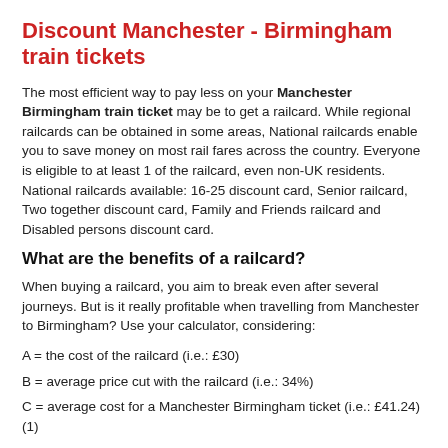Discount Manchester - Birmingham train tickets
The most efficient way to pay less on your Manchester Birmingham train ticket may be to get a railcard. While regional railcards can be obtained in some areas, National railcards enable you to save money on most rail fares across the country. Everyone is eligible to at least 1 of the railcard, even non-UK residents. National railcards available: 16-25 discount card, Senior railcard, Two together discount card, Family and Friends railcard and Disabled persons discount card.
What are the benefits of a railcard?
When buying a railcard, you aim to break even after several journeys. But is it really profitable when travelling from Manchester to Birmingham? Use your calculator, considering:
A = the cost of the railcard (i.e.: £30)
B = average price cut with the railcard (i.e.: 34%)
C = average cost for a Manchester Birmingham ticket (i.e.: £41.24) (1)